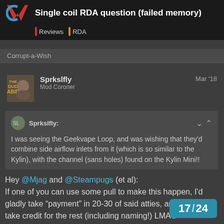Single coil RDA question (failed memory)
Corrupt-a-Wish
Sprkslfly
Mod Coroner
Mar '18
Sprkslfly:
I was seeing the Geekvape Loop, and was wishing that they'd combine side airflow inlets from it (which is so similar to the Kylin), with the channel (sans holes) found on the Kylin Mini!!
Hey @Mjag and @Steampugs (et al):
If one of you can use some pull to make this happen, I'd gladly take “payment” in 20-30 of said atties, and y'all can take credit for the rest (including naming!) LMAO

What do ya say? 😘 😐
17 / 24